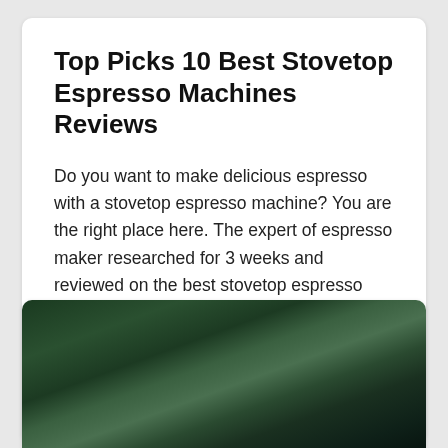Top Picks 10 Best Stovetop Espresso Machines Reviews
Do you want to make delicious espresso with a stovetop espresso machine? You are the right place here. The expert of espresso maker researched for 3 weeks and reviewed on the best stovetop espresso machine in 2019. There are potentially endless reasons why you would want to drink coffee. With more than four hundred billion…
[Figure (photo): Blurred dark green background image, likely an outdoor or nature scene, partially visible at the bottom of the page.]